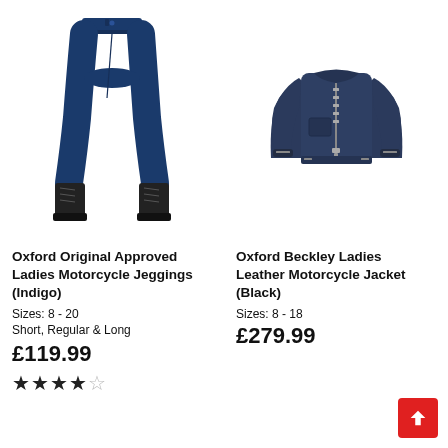[Figure (photo): Oxford Original Approved Ladies Motorcycle Jeggings in Indigo — a mannequin wearing dark blue skinny jeggings with black ankle boots]
[Figure (photo): Oxford Beckley Ladies Leather Motorcycle Jacket in Black (navy) — product shot of a dark navy leather jacket with zipper front]
Oxford Original Approved Ladies Motorcycle Jeggings (Indigo)
Sizes: 8 - 20
Short, Regular & Long
£119.99
★★★★☆
Oxford Beckley Ladies Leather Motorcycle Jacket (Black)
Sizes: 8 - 18
£279.99